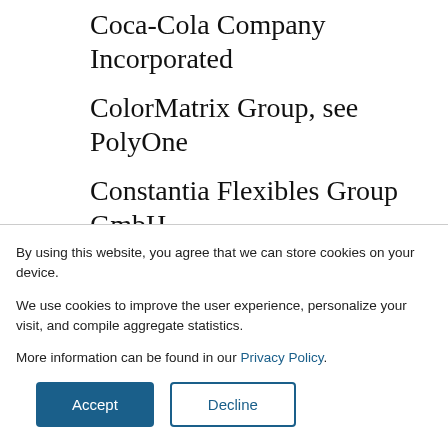Coca-Cola Company Incorporated
ColorMatrix Group, see PolyOne
Constantia Flexibles Group GmbH
Constar International, see Plastipak Holdings
Cortec Corporation
By using this website, you agree that we can store cookies on your device.
We use cookies to improve the user experience, personalize your visit, and compile aggregate statistics.
More information can be found in our Privacy Policy.
Accept
Decline